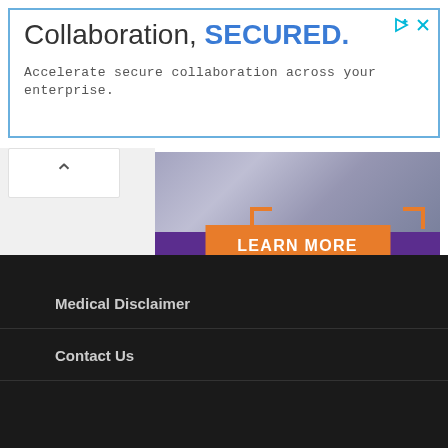[Figure (screenshot): Advertisement banner: 'Collaboration, SECURED.' with subtitle 'Accelerate secure collaboration across your enterprise.' in blue border, with play and close icons.]
[Figure (illustration): High Point University advertisement showing photo background at top with orange corners and 'LEARN MORE' orange button, purple background with 'HIGH POINT UNIVERSITY' text in white serif font.]
Medical Disclaimer
Contact Us